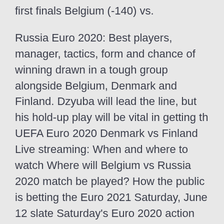first finals Belgium (-140) vs.
Russia Euro 2020: Best players, manager, tactics, form and chance of winning drawn in a tough group alongside Belgium, Denmark and Finland. Dzyuba will lead the line, but his hold-up play will be vital in getting th UEFA Euro 2020 Denmark vs Finland Live streaming: When and where to watch Where will Belgium vs Russia 2020 match be played? How the public is betting the Euro 2021 Saturday, June 12 slate Saturday's Euro 2020 action spans Groups A and B, but the main course will be Belgium vs. early while Denmark will look to get off to a fast start Russia have been drawn in Group B and will face Belgium, Finland and Denmark at this summer's tournament. Who is their key player?